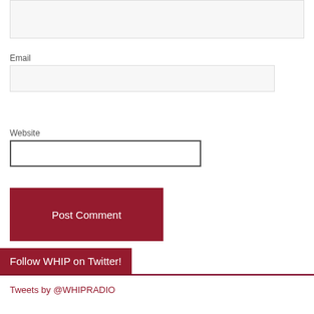Email
Website
Post Comment
Follow WHIP on Twitter!
Tweets by @WHIPRADIO